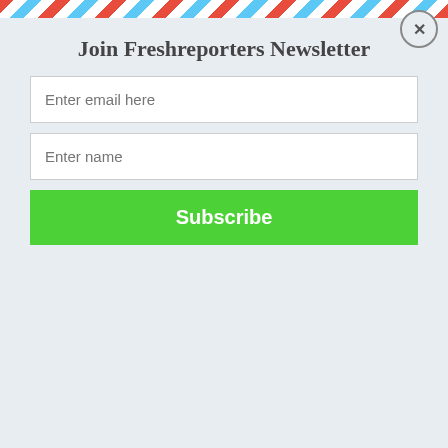Join Freshreporters Newsletter
Enter email here
Enter name
Subscribe
Entertainments
Singer Tiwa Savage Finally Joins League Of PhD Holders In Afrobeat By UK Varsity
Benjamin Osei  –  July 15, 2022
✕ CLOSE